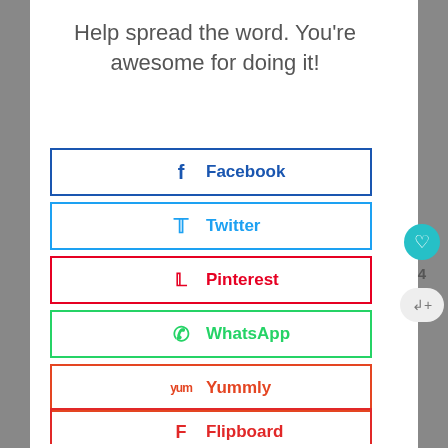Help spread the word. You're awesome for doing it!
Facebook
Twitter
Pinterest
WhatsApp
Yummly
Flipboard
Mix
Email